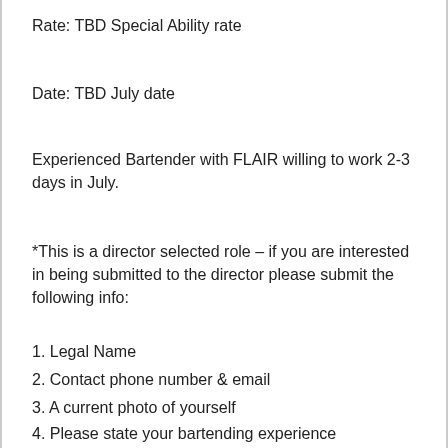Rate: TBD Special Ability rate
Date: TBD July date
Experienced Bartender with FLAIR willing to work 2-3 days in July.
*This is a director selected role – if you are interested in being submitted to the director please submit the following info:
1. Legal Name
2. Contact phone number & email
3. A current photo of yourself
4. Please state your bartending experience
Submit all this information: Casting@gagetalent.com